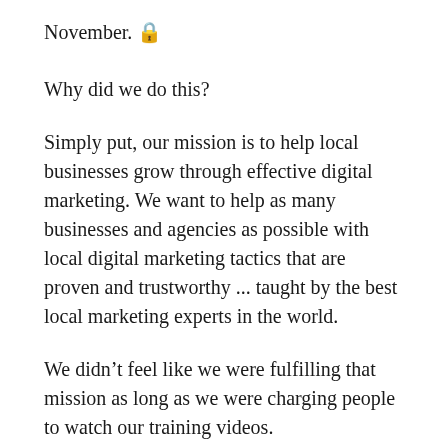November. 🔒
Why did we do this?
Simply put, our mission is to help local businesses grow through effective digital marketing. We want to help as many businesses and agencies as possible with local digital marketing tactics that are proven and trustworthy ... taught by the best local marketing experts in the world.
We didn't feel like we were fulfilling that mission as long as we were charging people to watch our training videos.
Educating local businesses and marketers is a